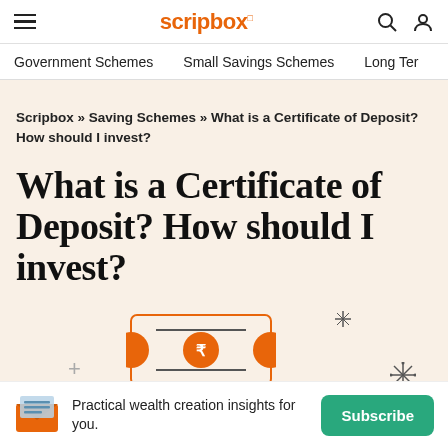scripbox | Government Schemes | Small Savings Schemes | Long Ter...
Scripbox » Saving Schemes » What is a Certificate of Deposit? How should I invest?
What is a Certificate of Deposit? How should I invest?
[Figure (illustration): Illustration of a certificate of deposit / savings document with rupee coin, surrounded by decorative plus and star/asterisk symbols]
Practical wealth creation insights for you.